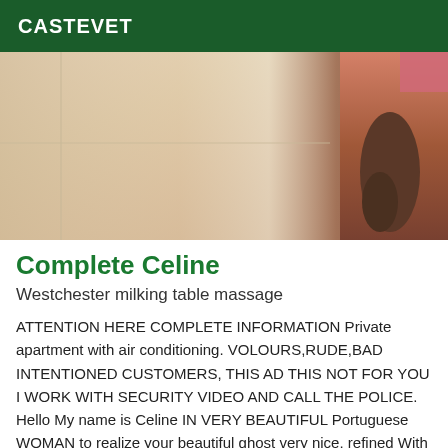CASTEVET
[Figure (photo): A close-up photograph showing people in a bathroom setting with tiled walls.]
Complete Celine
Westchester milking table massage
ATTENTION HERE COMPLETE INFORMATION Private apartment with air conditioning. VOLOURS,RUDE,BAD INTENTIONED CUSTOMERS, THIS AD THIS NOT FOR YOU I WORK WITH SECURITY VIDEO AND CALL THE POLICE. Hello My name is Celine IN VERY BEAUTIFUL Portuguese WOMAN to realize your beautiful ghost very nice, refined With a touch of natural